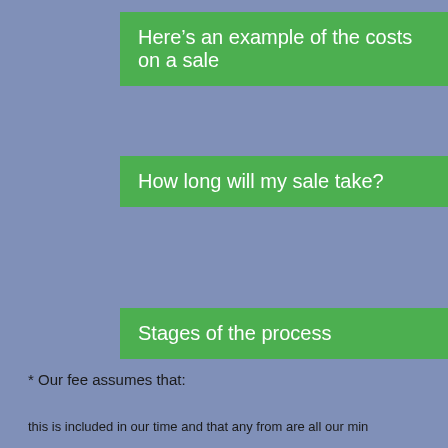Here’s an example of the costs on a sale
How long will my sale take?
Stages of the process
* Our fee assumes that:
this is included in our time and that any from are all our min